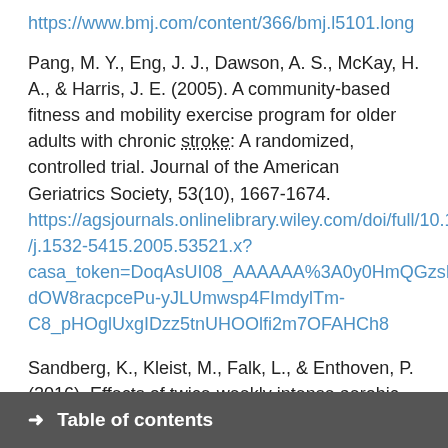https://www.bmj.com/content/366/bmj.l5101.long
Pang, M. Y., Eng, J. J., Dawson, A. S., McKay, H. A., & Harris, J. E. (2005). A community-based fitness and mobility exercise program for older adults with chronic stroke: A randomized, controlled trial. Journal of the American Geriatrics Society, 53(10), 1667-1674. https://agsjournals.onlinelibrary.wiley.com/doi/full/10.1111/j.1532-5415.2005.53521.x?casa_token=DoqAsUI08_AAAAAA%3A0y0HmQGzsD6pcdOW8racpcePu-yJLUmwsp4FImdylTm-C8_pHOglUxgIDzz5tnUHOOlfi2m7OFAHCh8
Sandberg, K., Kleist, M., Falk, L., & Enthoven, P. (2016). Effects of twice-weekly intense aerobic exercise in early subacute stroke: a randomized controlled trial. Archives
→ Table of contents